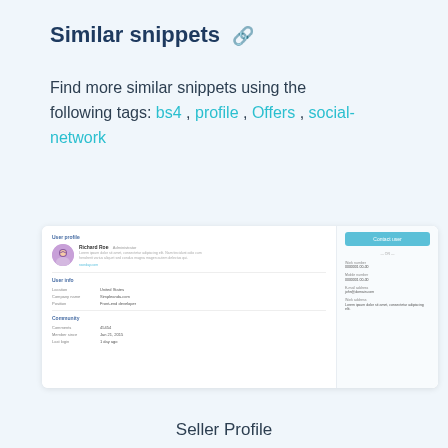Similar snippets 🔗
Find more similar snippets using the following tags: bs4 , profile , Offers , social-network
[Figure (screenshot): Screenshot of a user profile UI mockup showing User profile section with Richard Roe, User info section with Location, Company name, Position, and Community section, plus a Contact user sidebar.]
Seller Profile